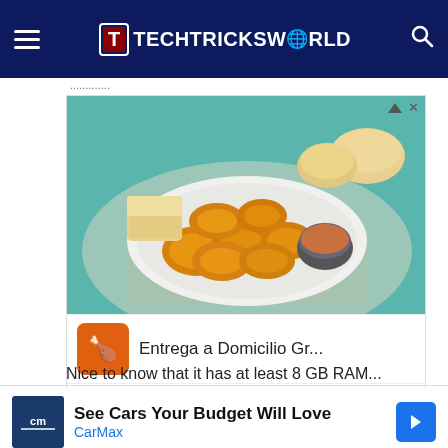TECHTRICKSWORLD
...
[Figure (screenshot): Advertisement for Pollo Campero food delivery service. Shows fried chicken nuggets on a plate with dipping sauce and bread rolls in the background. Ad includes app icon, 'Entrega a Domicilio Gr...' text, map showing Herndon location, and hours '10AM-10PM'.]
Nice to know that it has at least 8 GB RAM...
[Figure (screenshot): Advertisement for CarMax: 'See Cars Your Budget Will Love' with CarMax logo and navigation arrow button.]